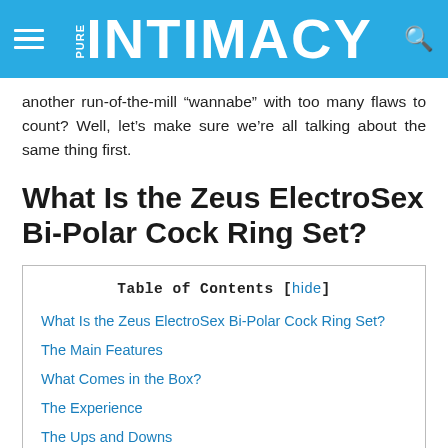PURE INTIMACY
another run-of-the-mill “wannabe” with too many flaws to count? Well, let’s make sure we’re all talking about the same thing first.
What Is the Zeus ElectroSex Bi-Polar Cock Ring Set?
| Table of Contents |
| --- |
| What Is the Zeus ElectroSex Bi-Polar Cock Ring Set? |
| The Main Features |
| What Comes in the Box? |
| The Experience |
| The Ups and Downs |
| The Takeaway |